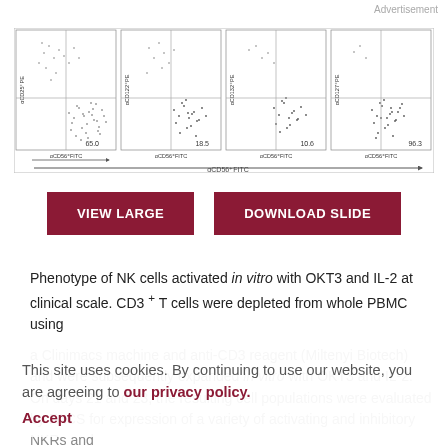Advertisement
[Figure (scatter-plot): Flow cytometry dot plots showing phenotype of NK cells. Four panels with axes aCD56-FITC (x) and markers aCD25-PE, aCD122-PE, aCD132-PE, aCD127-PE (y). Percentages shown: 65.0, 18.5, 10.6, 96.3]
VIEW LARGE
DOWNLOAD SLIDE
Phenotype of NK cells activated in vitro with OKT3 and IL-2 at clinical scale. CD3 + T cells were depleted from whole PBMC using a Clinimacs machine and anti-CD3 reagent (Miltenyi Biotech) and were subsequently expanded in vitro with OKT3 and IL-2. On days 21 and 23, the resulting cell populations were evaluated by FACS for expression of a variety of activating and inhibitory NKRs and
This site uses cookies. By continuing to use our website, you are agreeing to our privacy policy. Accept